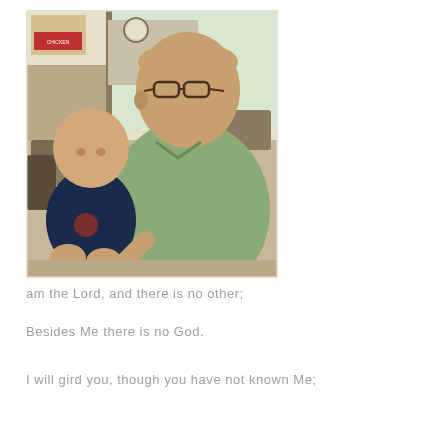[Figure (photo): A man wearing glasses and a light green polo shirt sitting next to a baby/toddler wearing a dark navy shirt, in what appears to be a restaurant setting with tables and chairs visible in the background.]
am the Lord, and there is no other;
Besides Me there is no God.
I will gird you, though you have not known Me;